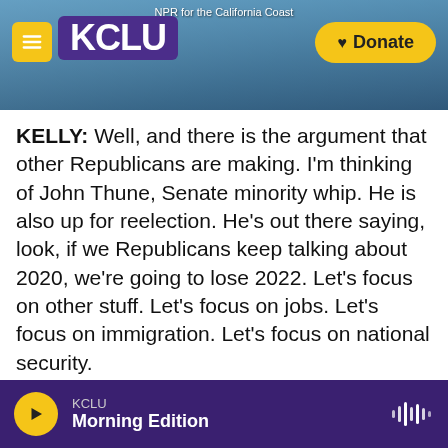[Figure (screenshot): KCLU NPR radio station website header with logo, hamburger menu, and Donate button over a California coast background image. Text reads 'NPR for the California Coast'.]
KELLY: Well, and there is the argument that other Republicans are making. I'm thinking of John Thune, Senate minority whip. He is also up for reelection. He's out there saying, look, if we Republicans keep talking about 2020, we're going to lose 2022. Let's focus on other stuff. Let's focus on jobs. Let's focus on immigration. Let's focus on national security.
CHEN: Yeah, and I think Thune is right. And the focus on the issues and the focus on the kitchen table issues in particular is something that I think voters are going to end up judging Republicans on
KCLU Morning Edition